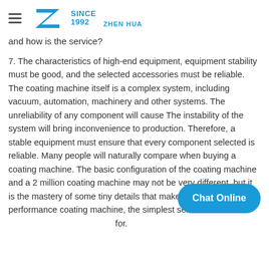ZHEN HUA SINCE 1992
and how is the service?
7. The characteristics of high-end equipment, equipment stability must be good, and the selected accessories must be reliable. The coating machine itself is a complex system, including vacuum, automation, machinery and other systems. The unreliability of any component will cause The instability of the system will bring inconvenience to production. Therefore, a stable equipment must ensure that every component selected is reliable. Many people will naturally compare when buying a coating machine. The basic configuration of the coating machine and a 2 million coating machine may not be very different, but it is the mastery of some tiny details that makes a stable performance coating machine, the simplest sentence Words: Y for.